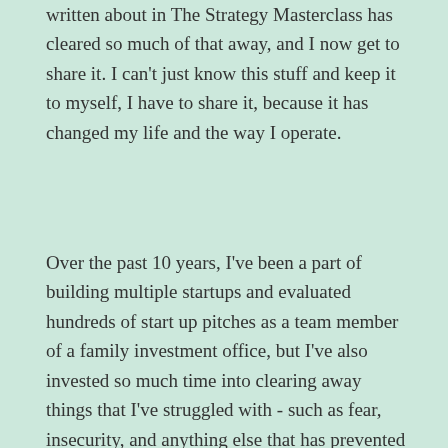written about in The Strategy Masterclass has cleared so much of that away, and I now get to share it. I can't just know this stuff and keep it to myself, I have to share it, because it has changed my life and the way I operate.
Over the past 10 years, I've been a part of building multiple startups and evaluated hundreds of start up pitches as a team member of a family investment office, but I've also invested so much time into clearing away things that I've struggled with - such as fear, insecurity, and anything else that has prevented me from doing the work I